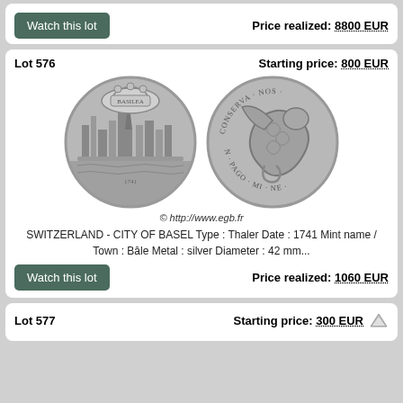Watch this lot
Price realized: 8800 EUR
Lot 576
Starting price: 800 EUR
[Figure (photo): Two silver coins - obverse showing city of Basel panorama with bridge and cartouche, reverse showing dragon/basilisk with inscription CONSERVA NOS and copyright mark http://www.egb.fr]
© http://www.egb.fr
SWITZERLAND - CITY OF BASEL Type : Thaler Date : 1741 Mint name / Town : Bâle Metal : silver Diameter : 42 mm...
Watch this lot
Price realized: 1060 EUR
Lot 577
Starting price: 300 EUR